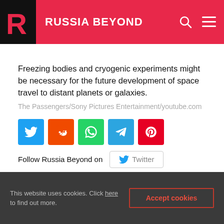RUSSIA BEYOND
Freezing bodies and cryogenic experiments might be necessary for the future development of space travel to distant planets or galaxies.
The Passengers/Sony Pictures Entertainment/youtube.com
[Figure (other): Social share buttons row: Twitter (blue), Reddit (orange), WhatsApp (green), Telegram (light blue), Pinterest (red)]
Follow Russia Beyond on   Twitter
KrioRus, a Russia-based cryonics company, sees outer space as a land of opportunity for
This website uses cookies. Click here to find out more.
Accept cookies